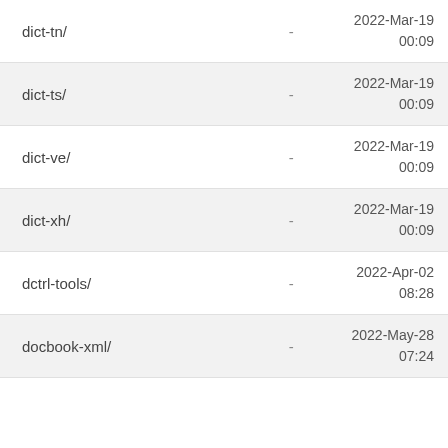| Name | Size | Date |
| --- | --- | --- |
| dict-tn/ | - | 2022-Mar-19
00:09 |
| dict-ts/ | - | 2022-Mar-19
00:09 |
| dict-ve/ | - | 2022-Mar-19
00:09 |
| dict-xh/ | - | 2022-Mar-19
00:09 |
| dctrl-tools/ | - | 2022-Apr-02
08:28 |
| docbook-xml/ | - | 2022-May-28
07:24 |